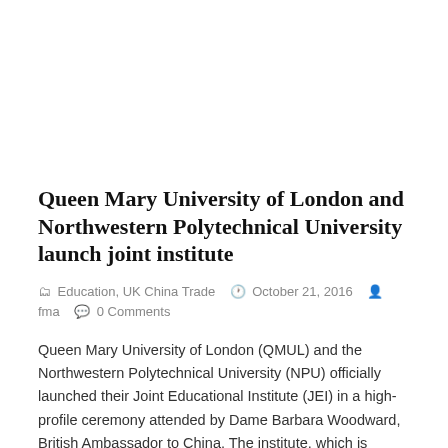Queen Mary University of London and Northwestern Polytechnical University launch joint institute
Education, UK China Trade   October 21, 2016   fma   0 Comments
Queen Mary University of London (QMUL) and the Northwestern Polytechnical University (NPU) officially launched their Joint Educational Institute (JEI) in a high-profile ceremony attended by Dame Barbara Woodward, British Ambassador to China. The institute, which is based at the NPU campuses in the ancient capital city of Xi'an in northwest China, will provide degree programmes [...]